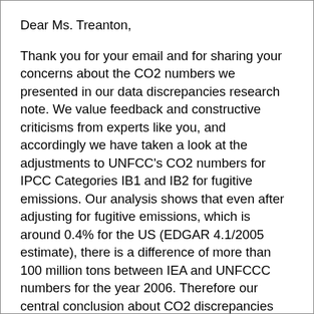Dear Ms. Treanton,
Thank you for your email and for sharing your concerns about the CO2 numbers we presented in our data discrepancies research note. We value feedback and constructive criticisms from experts like you, and accordingly we have taken a look at the adjustments to UNFCC's CO2 numbers for IPCC Categories IB1 and IB2 for fugitive emissions. Our analysis shows that even after adjusting for fugitive emissions, which is around 0.4% for the US (EDGAR 4.1/2005 estimate), there is a difference of more than 100 million tons between IEA and UNFCCC numbers for the year 2006. Therefore our central conclusion about CO2 discrepancies remains unchanged. If we price CO2 at around $10 per ton, this discrepancy would be worth more than a $ 1 billion. In our view it is a sizeable amount that deserves some policy attention.
Regarding your comment about our reference to the reaction from China about the IEA energy use estimates, our main goal is to simply highlight that the differences in